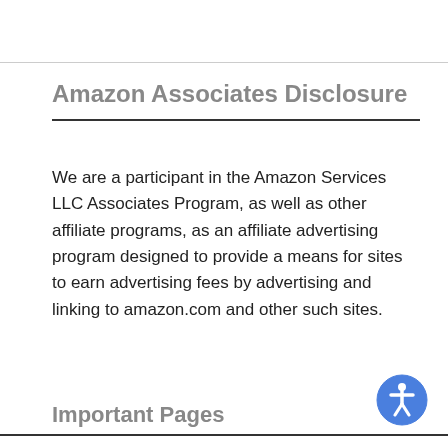Amazon Associates Disclosure
We are a participant in the Amazon Services LLC Associates Program, as well as other affiliate programs, as an affiliate advertising program designed to provide a means for sites to earn advertising fees by advertising and linking to amazon.com and other such sites.
Important Pages